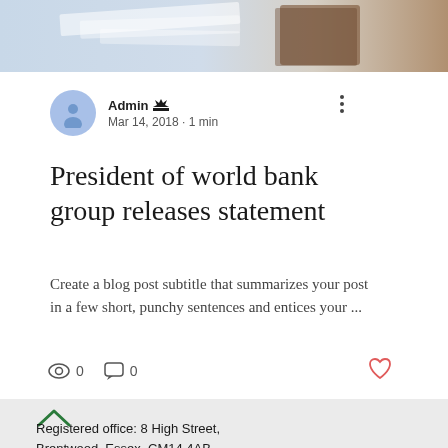[Figure (photo): Partial photo of documents/papers on a desk, cropped at top of page]
Admin 👑
Mar 14, 2018 · 1 min
President of world bank group releases statement
Create a blog post subtitle that summarizes your post in a few short, punchy sentences and entices your ...
0   0
Registered office: 8 High Street, Brentwood, Essex, CM14 4AB